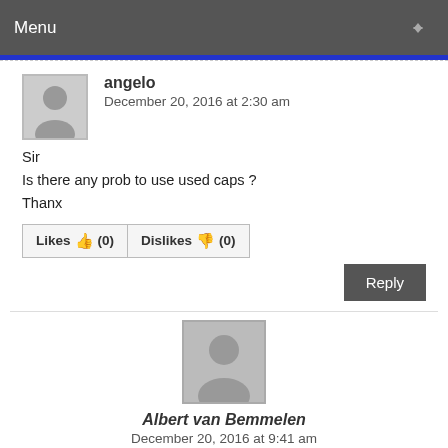Menu
angelo
December 20, 2016 at 2:30 am
Sir
Is there any prob to use used caps ?
Thanx
Likes (0)   Dislikes (0)
Reply
Albert van Bemmelen
December 20, 2016 at 9:41 am
[Figure (screenshot): Ad banner: Free Repair Report - Click Here Now]
The
value
...